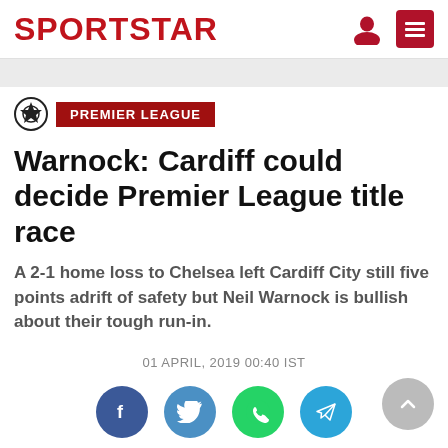SPORTSTAR
PREMIER LEAGUE
Warnock: Cardiff could decide Premier League title race
A 2-1 home loss to Chelsea left Cardiff City still five points adrift of safety but Neil Warnock is bullish about their tough run-in.
01 APRIL, 2019 00:40 IST